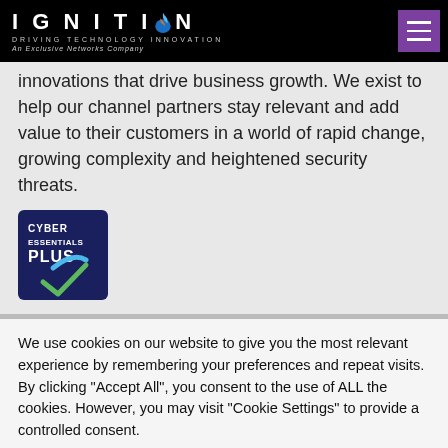IGNITION DRIVING TECHNOLOGY INNOVATION — An Exclusive Networks Company
innovations that drive business growth. We exist to help our channel partners stay relevant and add value to their customers in a world of rapid change, growing complexity and heightened security threats.
[Figure (logo): Cyber Essentials Plus certification badge — dark navy square with text 'CYBER ESSENTIALS PLUS' and a checkmark in green and blue.]
We use cookies on our website to give you the most relevant experience by remembering your preferences and repeat visits. By clicking "Accept All", you consent to the use of ALL the cookies. However, you may visit "Cookie Settings" to provide a controlled consent.
Cookie Settings   Accept All